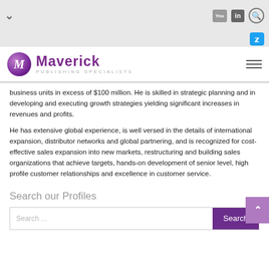Maverick Publishing Specialists – navigation bar with social icons
business units in excess of $100 million. He is skilled in strategic planning and in developing and executing growth strategies yielding significant increases in revenues and profits.
He has extensive global experience, is well versed in the details of international expansion, distributor networks and global partnering, and is recognized for cost-effective sales expansion into new markets, restructuring and building sales organizations that achieve targets, hands-on development of senior level, high profile customer relationships and excellence in customer service.
Search our Profiles